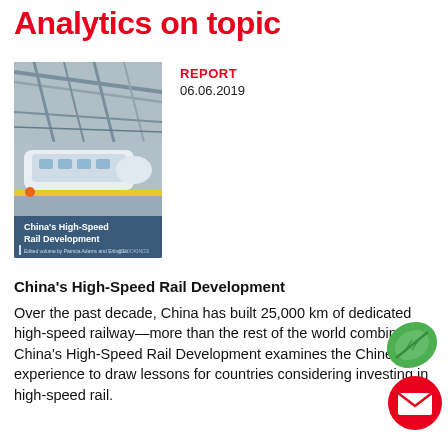Analytics on topic
REPORT
06.06.2019
[Figure (photo): Book cover of 'China's High-Speed Rail Development' showing a high-speed train station with blue tones and the Brookings Institution logo]
China's High-Speed Rail Development
Over the past decade, China has built 25,000 km of dedicated high-speed railway—more than the rest of the world combined. China's High-Speed Rail Development examines the Chinese experience to draw lessons for countries considering investing in high-speed rail.